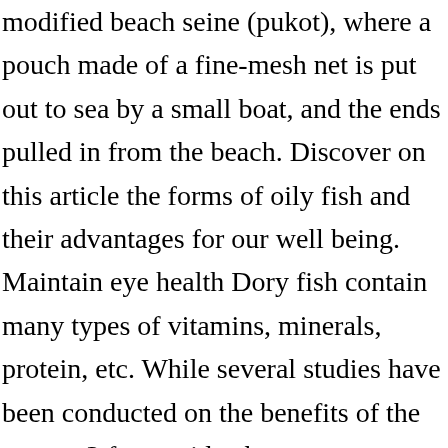modified beach seine (pukot), where a pouch made of a fine-mesh net is put out to sea by a small boat, and the ends pulled in from the beach. Discover on this article the forms of oily fish and their advantages for our well being. Maintain eye health Dory fish contain many types of vitamins, minerals, protein, etc. While several studies have been conducted on the benefits of the omega-3 fatty acids, they are most notably known for their benefits in heart health. Haddock is smooth-flavored fish that absorbs surrounding flavors in a